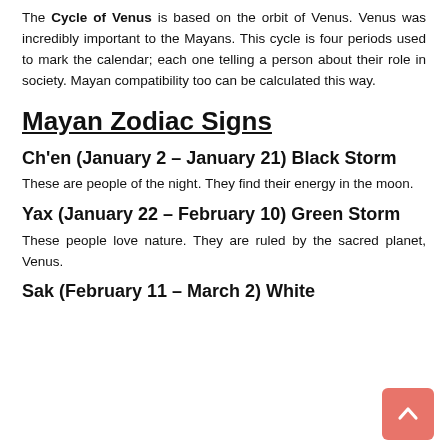The Cycle of Venus is based on the orbit of Venus. Venus was incredibly important to the Mayans. This cycle is four periods used to mark the calendar; each one telling a person about their role in society. Mayan compatibility too can be calculated this way.
Mayan Zodiac Signs
Ch'en (January 2 – January 21) Black Storm
These are people of the night. They find their energy in the moon.
Yax (January 22 – February 10) Green Storm
These people love nature. They are ruled by the sacred planet, Venus.
Sak (February 11 – March 2) White